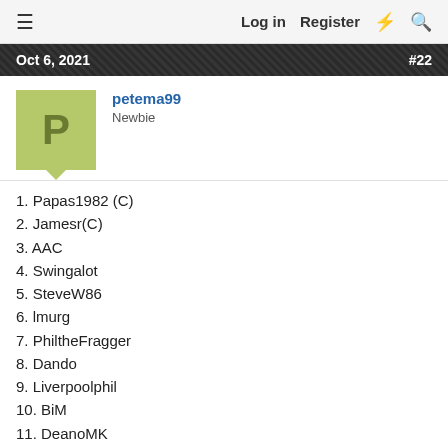Log in   Register
Oct 6, 2021   #22
petema99
Newbie
1. Papas1982 (C)
2. Jamesr(C)
3. AAC
4. Swingalot
5. SteveW86
6. lmurg
7. PhiltheFragger
8. Dando
9. Liverpoolphil
10. BiM
11. DeanoMK
12 Old Skier
13. Aztecs27
14. Paperboy
15. SIlH